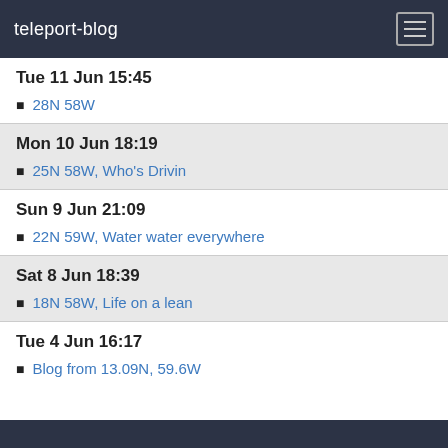teleport-blog
Tue 11 Jun 15:45
28N 58W
Mon 10 Jun 18:19
25N 58W, Who's Drivin
Sun 9 Jun 21:09
22N 59W, Water water everywhere
Sat 8 Jun 18:39
18N 58W, Life on a lean
Tue 4 Jun 16:17
Blog from 13.09N, 59.6W